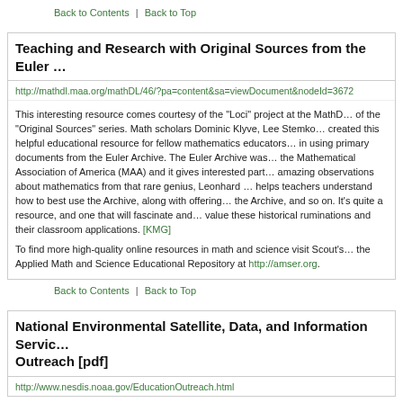Back to Contents  |  Back to Top
Teaching and Research with Original Sources from the Euler …
http://mathdl.maa.org/mathDL/46/?pa=content&sa=viewDocument&nodeId=3672
This interesting resource comes courtesy of the "Loci" project at the MathD… of the "Original Sources" series. Math scholars Dominic Klyve, Lee Stemko… created this helpful educational resource for fellow mathematics educators… in using primary documents from the Euler Archive. The Euler Archive was… the Mathematical Association of America (MAA) and it gives interested part… amazing observations about mathematics from that rare genius, Leonhard … helps teachers understand how to best use the Archive, along with offering… the Archive, and so on. It's quite a resource, and one that will fascinate and… value these historical ruminations and their classroom applications. [KMG]
To find more high-quality online resources in math and science visit Scout's… the Applied Math and Science Educational Repository at http://amser.org.
Back to Contents  |  Back to Top
National Environmental Satellite, Data, and Information Servic… Outreach [pdf]
http://www.nesdis.noaa.gov/EducationOutreach.html